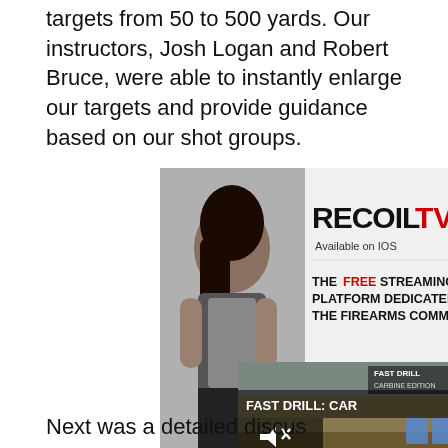targets from 50 to 500 yards. Our instructors, Josh Logan and Robert Bruce, were able to instantly enlarge our targets and provide guidance based on our shot groups.
[Figure (other): RECOILTV advertisement showing a woman in tactical vest with a firearm, text reads RECOILTV Available on IOS, THE FREE STREAMING PLATFORM DEDICATED TO THE FIREARMS COMMUNITY. Overlapping video player showing FAST DRILL: CAR with play controls and 0:00 timestamp.]
Next was a detailed discus